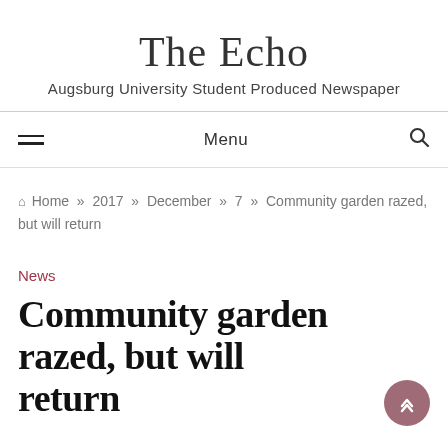The Echo
Augsburg University Student Produced Newspaper
Menu
Home » 2017 » December » 7 » Community garden razed, but will return
News
Community garden razed, but will return